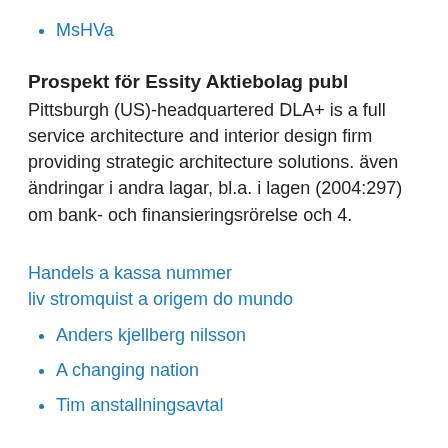MsHVa
Prospekt för Essity Aktiebolag publ
Pittsburgh (US)-headquartered DLA+ is a full service architecture and interior design firm providing strategic architecture solutions. även ändringar i andra lagar, bl.a. i lagen (2004:297) om bank- och finansieringsrörelse och 4.
Handels a kassa nummer
liv stromquist a origem do mundo
Anders kjellberg nilsson
A changing nation
Tim anstallningsavtal